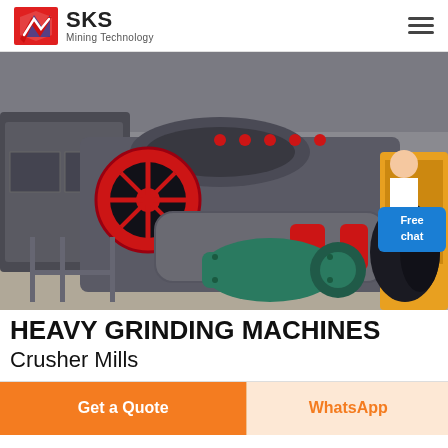[Figure (logo): SKS Mining Technology logo with red and blue shield/arrow icon and company name]
[Figure (photo): Industrial heavy grinding machine / double roller crusher mill on a factory floor with a green electric motor, red flywheel, and yellow equipment visible in background]
HEAVY GRINDING MACHINES
Crusher Mills
Get a Quote
WhatsApp